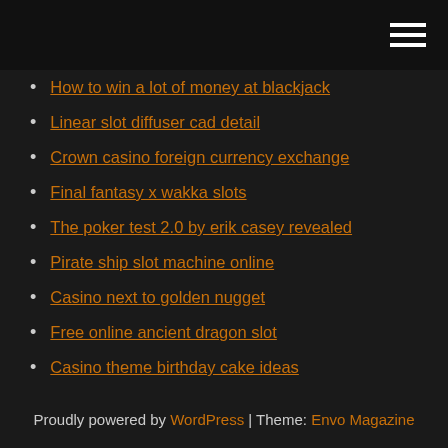How to win a lot of money at blackjack
Linear slot diffuser cad detail
Crown casino foreign currency exchange
Final fantasy x wakka slots
The poker test 2.0 by erik casey revealed
Pirate ship slot machine online
Casino next to golden nugget
Free online ancient dragon slot
Casino theme birthday cake ideas
New york online poker legal
Bad beat poker rivers casino
Proudly powered by WordPress | Theme: Envo Magazine